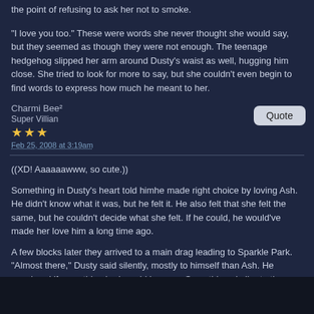the point of refusing to ask her not to smoke.
"I love you too." These were words she never thought she would say, but they seemed as though they were not enough. The teenage hedgehog slipped her arm around Dusty's waist as well, hugging him close. She tried to look for more to say, but she couldn't even begin to find words to express how much he meant to her.
Charmi Bee² Super Villian ★★★ Feb 25, 2008 at 3:19am
Quote
((XD! Aaaaaawww, so cute.))
Something in Dusty's heart told himhe made right choice by loving Ash. He didn't know what it was, but he felt it. He also felt that she felt the same, but he couldn't decide what she felt. If he could, he would've made her love him a long time ago.
A few blocks later they arrived to a main drag leading to Sparkle Park. "Almost there," Dusty said silently, mostly to himself than Ash. He wondered if something bad would happen. Something similar to the Sammael attack. ((Hope I wrote his name right.))